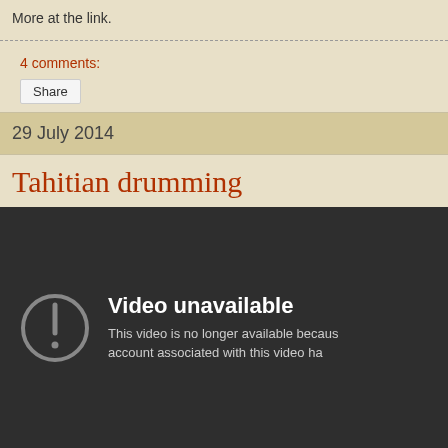More at the link.
4 comments:
Share
29 July 2014
Tahitian drumming
[Figure (screenshot): Embedded video player showing 'Video unavailable' error message with a circle-exclamation icon. Text reads: 'Video unavailable. This video is no longer available because account associated with this video ha...']